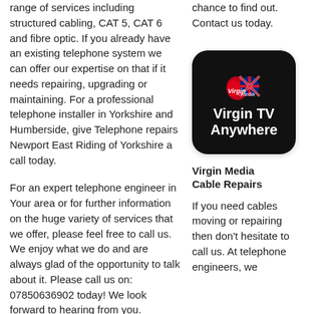range of services including structured cabling, CAT 5, CAT 6 and fibre optic. If you already have an existing telephone system we can offer our expertise on that if it needs repairing, upgrading or maintaining. For a professional telephone installer in Yorkshire and Humberside, give Telephone repairs Newport East Riding of Yorkshire a call today.
chance to find out. Contact us today.
For an expert telephone engineer in Your area or for further information on the huge variety of services that we offer, please feel free to call us. We enjoy what we do and are always glad of the opportunity to talk about it. Please call us on: 07850636902 today! We look forward to hearing from you.
[Figure (logo): Virgin Media app icon with Virgin TV Anywhere text on dark rounded-square background]
Virgin Media Cable Repairs
If you need cables moving or repairing then don't hesitate to call us. At telephone engineers, we
[Figure (screenshot): Embedded video player showing 'Video unavailable - Playback on other websites has been disabled by the video owner' with Watch on YouTube link and phone icon]